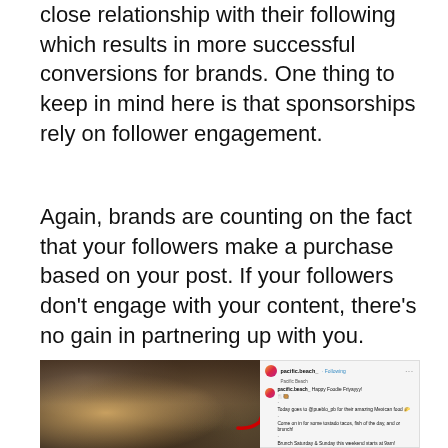close relationship with their following which results in more successful conversions for brands. One thing to keep in mind here is that sponsorships rely on follower engagement.
Again, brands are counting on the fact that your followers make a purchase based on your post. If your followers don't engage with your content, there's no gain in partnering up with you.
[Figure (screenshot): An Instagram post screenshot showing a food photo on the left with hands over a Mexican food spread, and on the right the caption from pacific.beach_ account saying 'Happy Foodie Friyayyy!' and promoting @pueblo_pb for their amazing Mexican food, mentioning tostado tacos, fish of the day, and brunch on Saturday & Sunday starting at 9am. A red arrow points to the caption text.]